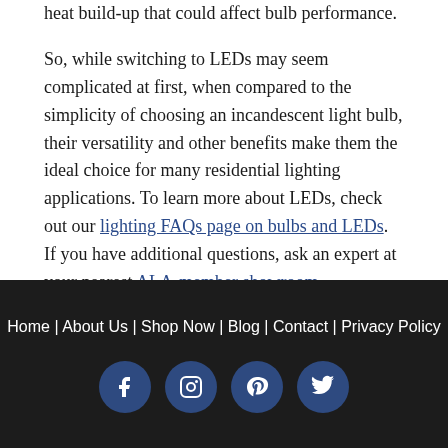heat build-up that could affect bulb performance.

So, while switching to LEDs may seem complicated at first, when compared to the simplicity of choosing an incandescent light bulb, their versatility and other benefits make them the ideal choice for many residential lighting applications. To learn more about LEDs, check out our lighting FAQs page on bulbs and LEDs. If you have additional questions, ask an expert at your nearest ALA-member showroom.
Home | About Us | Shop Now | Blog | Contact | Privacy Policy